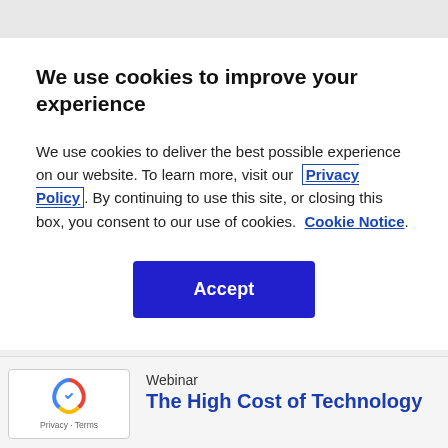We use cookies to improve your experience
We use cookies to deliver the best possible experience on our website. To learn more, visit our  Privacy Policy . By continuing to use this site, or closing this box, you consent to our use of cookies.  Cookie Notice .
Accept
Webinar
The High Cost of Technology